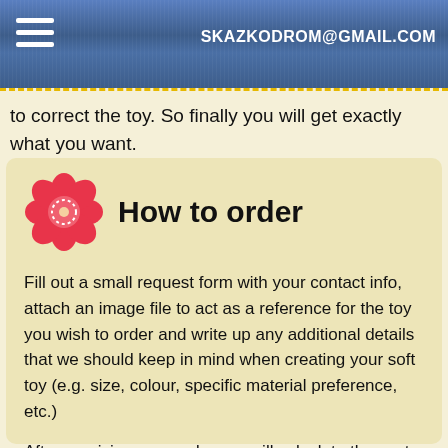SKAZKODROM@GMAIL.COM
to correct the toy. So finally you will get exactly what you want.
How to order
Fill out a small request form with your contact info, attach an image file to act as a reference for the toy you wish to order and write up any additional details that we should keep in mind when creating your soft toy (e.g. size, colour, specific material preference, etc.)
After receiving your order, we will calculate the cost of making your custom plush toy and contact you. Generally the cost of our custom made toys ranges from 350 $. It all depends on the complexity, the materials used, the size of the toy and any other additional desires for the toy that you might have.